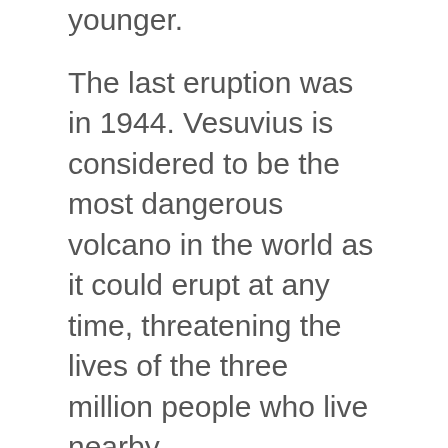younger.
The last eruption was in 1944. Vesuvius is considered to be the most dangerous volcano in the world as it could erupt at any time, threatening the lives of the three million people who live nearby.
Stromboli is one of the Aeolian Islands, situated off the north coast of Sicily, in the Tyrrhenian Sea. It is 926 metres high and has been erupting almost constantly for the last 2,000 years.
The spectacular explosions are visible many miles out to sea, leading to the